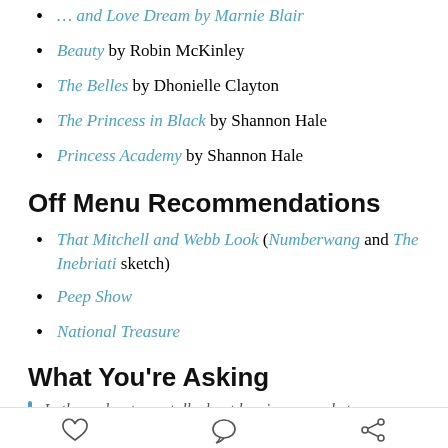[truncated title] by [truncated author]
Beauty by Robin McKinley
The Belles by Dhonielle Clayton
The Princess in Black by Shannon Hale
Princess Academy by Shannon Hale
Off Menu Recommendations
That Mitchell and Webb Look (Numberwang and The Inebriati sketch)
Peep Show
National Treasure
What You're Asking
In the podcast, you talk about leaning on archetypes...